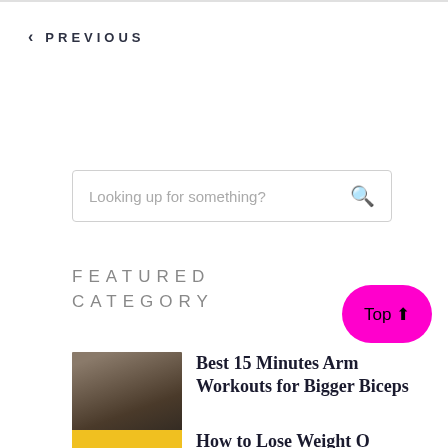< PREVIOUS
Looking up for something?
FEATURED CATEGORY
[Figure (photo): Muscular man with resistance bands around his chest and arms in a gym setting]
Best 15 Minutes Arm Workouts for Bigger Biceps